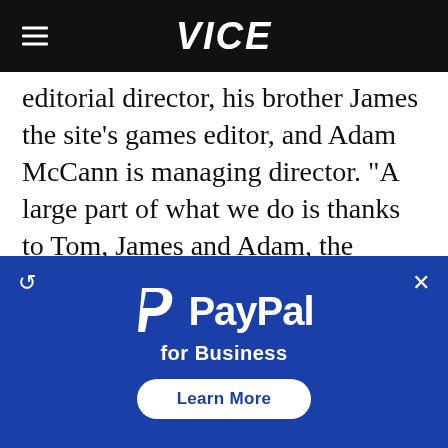VICE
editorial director, his brother James the site's games editor, and Adam McCann is managing director. "A large part of what we do is thanks to Tom, James and Adam, the people that brought you VideoGamer to begin with," Miller says. "There's very little red tape, which benefits us hugely. There's a lot of work to get done, but it never really feels like work. We essentially get to be morons every day and there's a lot to be
[Figure (advertisement): PayPal for Business advertisement with blue background, PayPal logo, 'for Business' subtitle, and 'Learn More' button]